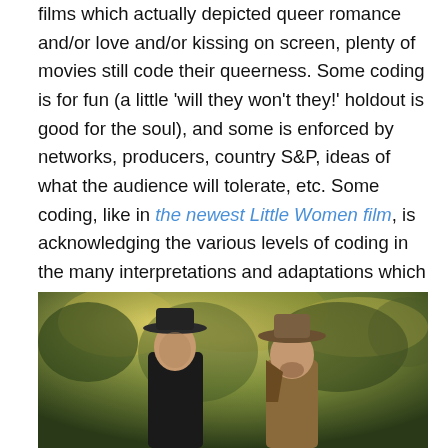films which actually depicted queer romance and/or love and/or kissing on screen, plenty of movies still code their queerness. Some coding is for fun (a little 'will they won't they!' holdout is good for the soul), and some is enforced by networks, producers, country S&P, ideas of what the audience will tolerate, etc. Some coding, like in the newest Little Women film, is acknowledging the various levels of coding in the many interpretations and adaptations which have come before.
[Figure (photo): Two men wearing wide-brimmed hats standing outdoors in a wooded/garden setting with green foliage in the background. The man on the left wears dark clothing and the man on the right wears lighter brown clothing.]